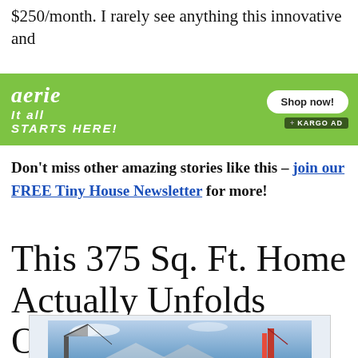$250/month. I rarely see anything this innovative and
[Figure (screenshot): Aerie brand advertisement banner with green background. Shows 'aerie' logo in white italic script, tagline 'It all STARTS HERE!' in white bold italic text, a 'Shop now!' button, and '+KARGO AD' badge.]
Don't miss other amazing stories like this – join our FREE Tiny House Newsletter for more!
This 375 Sq. Ft. Home Actually Unfolds Onsite!
[Figure (photo): Partial view of a photo showing a structure being deployed or assembled outdoors, with blue sky and crane/construction equipment visible.]